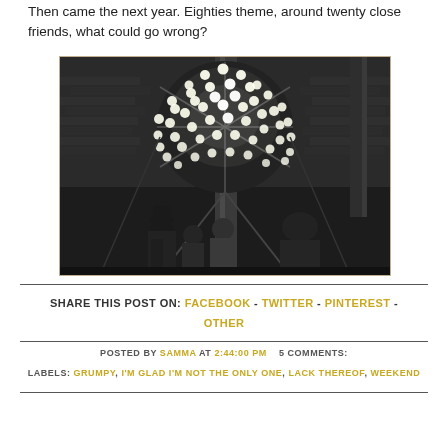Then came the next year. Eighties theme, around twenty close friends, what could go wrong?
[Figure (photo): Black and white photo of people standing beneath a large illuminated spherical ball structure with many lights, in what appears to be a Times Square New Year's Eve setting. Several people in coats are visible below the ball.]
SHARE THIS POST ON: FACEBOOK - TWITTER - PINTEREST - OTHER
POSTED BY SAMMA AT 2:44:00 PM   5 COMMENTS:
LABELS: GRUMPY, I'M GLAD I'M NOT THE ONLY ONE, LACK THEREOF, WEEKEND